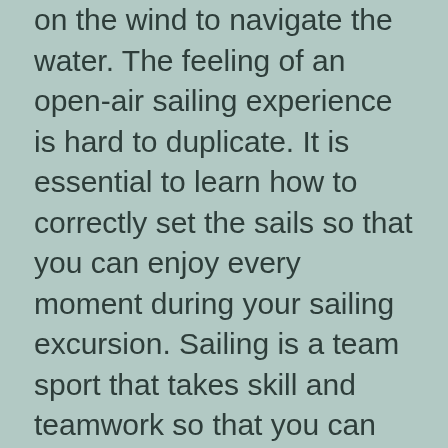on the wind to navigate the water. The feeling of an open-air sailing experience is hard to duplicate. It is essential to learn how to correctly set the sails so that you can enjoy every moment during your sailing excursion. Sailing is a team sport that takes skill and teamwork so that you can pick from cruising dinghies, day sailors, and more.
Fishing Boat
These boats have robust, stable, durable features to carry out fishing ventures in all types of water, both fresh and salt.Pontoon